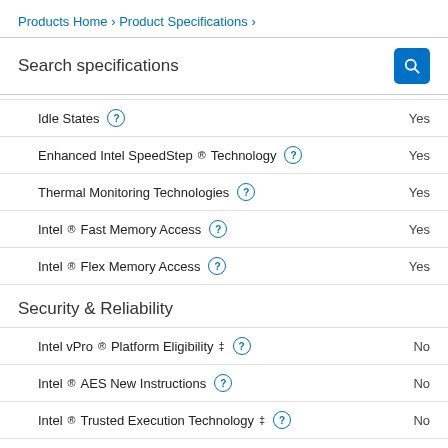Products Home › Product Specifications ›
Search specifications
| Specification | Value |
| --- | --- |
| Idle States | Yes |
| Enhanced Intel SpeedStep® Technology | Yes |
| Thermal Monitoring Technologies | Yes |
| Intel® Fast Memory Access | Yes |
| Intel® Flex Memory Access | Yes |
Security & Reliability
| Specification | Value |
| --- | --- |
| Intel vPro® Platform Eligibility ‡ | No |
| Intel® AES New Instructions | No |
| Intel® Trusted Execution Technology ‡ | No |